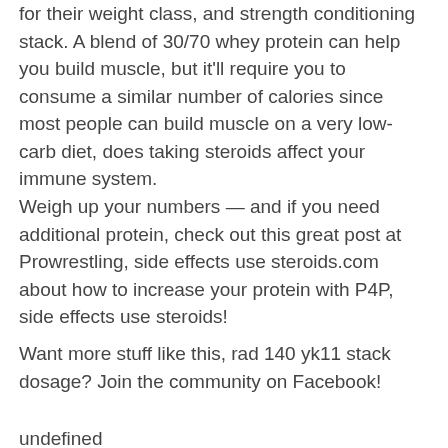for their weight class, and strength conditioning stack. A blend of 30/70 whey protein can help you build muscle, but it'll require you to consume a similar number of calories since most people can build muscle on a very low-carb diet, does taking steroids affect your immune system.
Weigh up your numbers — and if you need additional protein, check out this great post at Prowrestling, side effects use steroids.com about how to increase your protein with P4P, side effects use steroids!
Want more stuff like this, rad 140 yk11 stack dosage? Join the community on Facebook!
undefined
Related Article: